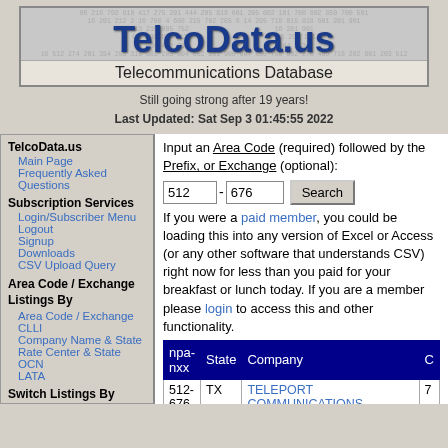[Figure (logo): TelcoData.us banner with number background, large blue bold title 'TelcoData.us' and subtitle 'Telecommunications Database']
Still going strong after 19 years!
Last Updated: Sat Sep 3 01:45:55 2022
TelcoData.us
Main Page
Frequently Asked Questions
Subscription Services
Login/Subscriber Menu
Logout
Signup
Downloads
CSV Upload Query
Area Code / Exchange Listings By
Area Code / Exchange
CLLI
Company Name & State
Rate Center & State
OCN
LATA
Switch Listings By
Input an Area Code (required) followed by the Prefix, or Exchange (optional):
If you were a paid member, you could be loading this into any version of Excel or Access (or any other software that understands CSV) right now for less than you paid for your breakfast or lunch today. If you are a member please login to access this and other functionality.
| npa-nxx | State | Company | C |
| --- | --- | --- | --- |
| 512-676 | TX | TELEPORT COMMUNICATIONS AMERIC (AT&T) | 7 |